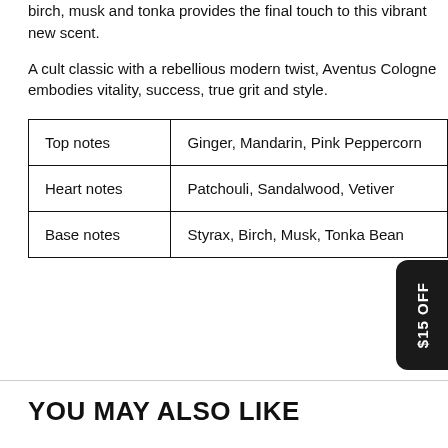birch, musk and tonka provides the final touch to this vibrant new scent.
A cult classic with a rebellious modern twist, Aventus Cologne embodies vitality, success, true grit and style.
| Top notes | Ginger, Mandarin, Pink Peppercorn |
| Heart notes | Patchouli, Sandalwood, Vetiver |
| Base notes | Styrax, Birch, Musk, Tonka Bean |
YOU MAY ALSO LIKE